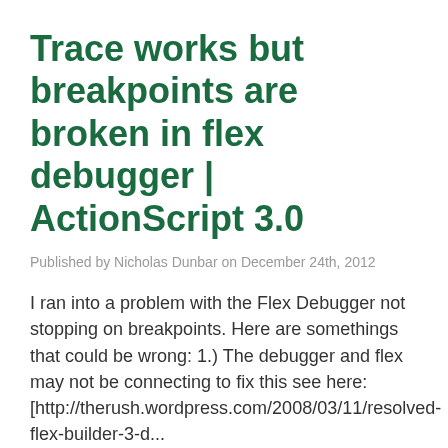Trace works but breakpoints are broken in flex debugger | ActionScript 3.0
Published by Nicholas Dunbar on December 24th, 2012
I ran into a problem with the Flex Debugger not stopping on breakpoints. Here are somethings that could be wrong: 1.) The debugger and flex may not be connecting to fix this see here: [http://therush.wordpress.com/2008/03/11/resolved-flex-builder-3-d...
programming
as3
denverapps
done